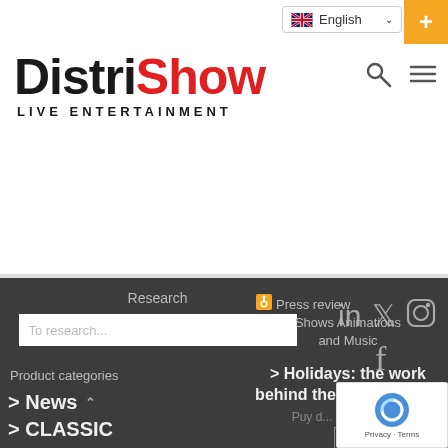[Figure (logo): DistriShow Live Entertainment logo with Cesam International logo]
English
Research
To research...
Product categories
> News
> CLASSIC
[Figure (infographic): Social media icons: LinkedIn, Twitter, Instagram, Facebook]
Product labels
Actor
Africa
afro
Press review Shows Animations and Music
> Holidays: the work behind the Puy du Fou...
Puy du... the second...
[Figure (logo): reCAPTCHA badge with Privacy and Terms links]